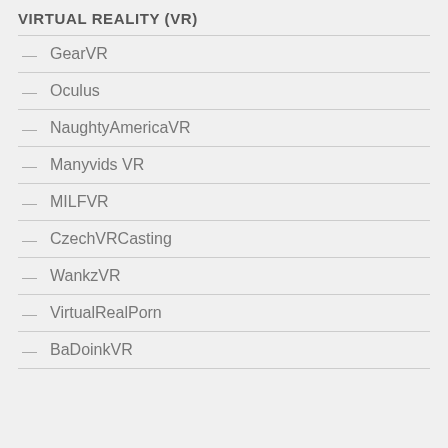VIRTUAL REALITY (VR)
GearVR
Oculus
NaughtyAmericaVR
Manyvids VR
MILFVR
CzechVRCasting
WankzVR
VirtualRealPorn
BaDoinkVR